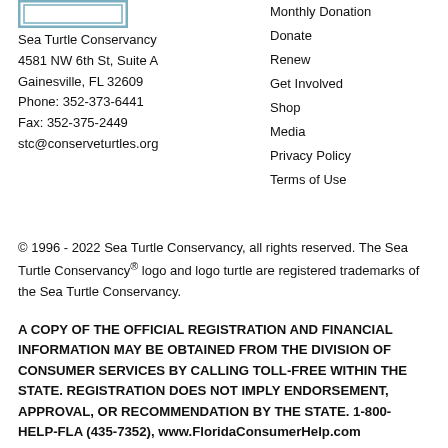[Figure (logo): Sea Turtle Conservancy logo box — rectangular border with stylized turtle icon inside]
Sea Turtle Conservancy
4581 NW 6th St, Suite A
Gainesville, FL 32609
Phone: 352-373-6441
Fax: 352-375-2449
stc@conserveturtles.org
Monthly Donation
Donate
Renew
Get Involved
Shop
Media
Privacy Policy
Terms of Use
© 1996 - 2022 Sea Turtle Conservancy, all rights reserved. The Sea Turtle Conservancy® logo and logo turtle are registered trademarks of the Sea Turtle Conservancy.
A COPY OF THE OFFICIAL REGISTRATION AND FINANCIAL INFORMATION MAY BE OBTAINED FROM THE DIVISION OF CONSUMER SERVICES BY CALLING TOLL-FREE WITHIN THE STATE. REGISTRATION DOES NOT IMPLY ENDORSEMENT, APPROVAL, OR RECOMMENDATION BY THE STATE. 1-800-HELP-FLA (435-7352), www.FloridaConsumerHelp.com